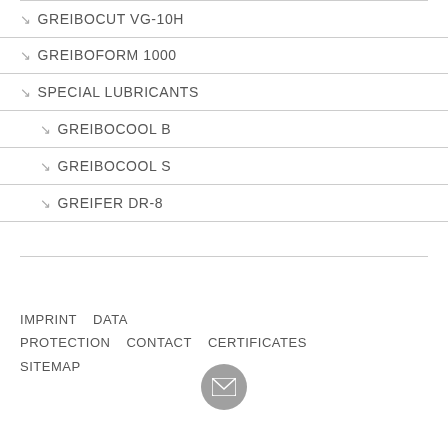↘ GREIBOCUT VG-10H
↘ GREIBOFORM 1000
↘ SPECIAL LUBRICANTS
↘ GREIBOCOOL B
↘ GREIBOCOOL S
↘ GREIFER DR-8
IMPRINT   DATA PROTECTION   CONTACT   CERTIFICATES   SITEMAP
[Figure (illustration): Email icon button — circular grey button with envelope icon]